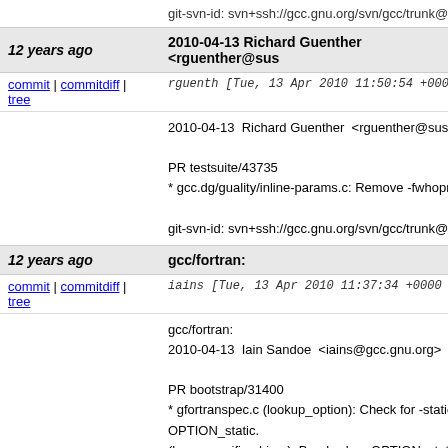git-svn-id: svn+ssh://gcc.gnu.org/svn/gcc/trunk@1
12 years ago | 2010-04-13 Richard Guenther <rguenther@sus...
commit | commitdiff | tree | rguenth [Tue, 13 Apr 2010 11:50:54 +0000
2010-04-13 Richard Guenther <rguenther@suse...
PR testsuite/43735
* gcc.dg/guality/inline-params.c: Remove -fwhopr...
git-svn-id: svn+ssh://gcc.gnu.org/svn/gcc/trunk@1
12 years ago | gcc/fortran:
commit | commitdiff | tree | iains [Tue, 13 Apr 2010 11:37:34 +0000 (
gcc/fortran:
2010-04-13 Iain Sandoe <iains@gcc.gnu.org>

PR bootstrap/31400
* gfortranspec.c (lookup_option): Check for -static... OPTION_static.
(lang_specific_driver): Break when OPTION_static...
git-svn-id: svn+ssh://gcc.gnu.org/svn/gcc/trunk@1
12 years ago | * config/i386/i386.md (extendsidi2 splitter): Als...